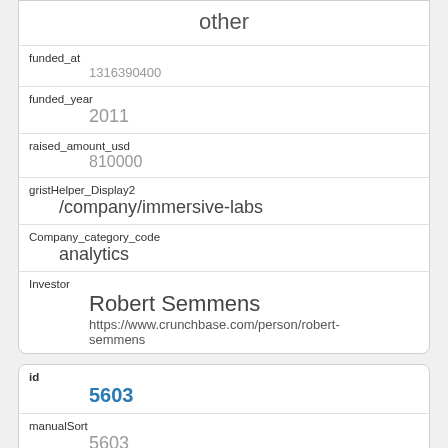other
funded_at
1316390400
funded_year
2011
raised_amount_usd
810000
gristHelper_Display2
/company/immersive-labs
Company_category_code
analytics
Investor
Robert Semmens
https://www.crunchbase.com/person/robert-semmens
id
5603
manualSort
5603